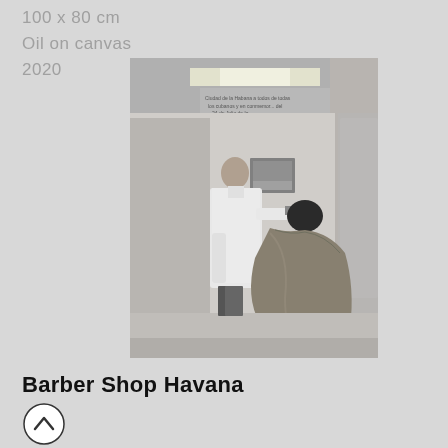100 x 80 cm
Oil on canvas
2020
[Figure (photo): Black and white photograph of a barber shop in Havana. A barber in a white coat is cutting the hair of a seated customer draped in a brown cape. A framed picture hangs on the wall behind them. Text on the wall reads something about Ciudad de la Habana.]
Barber Shop Havana